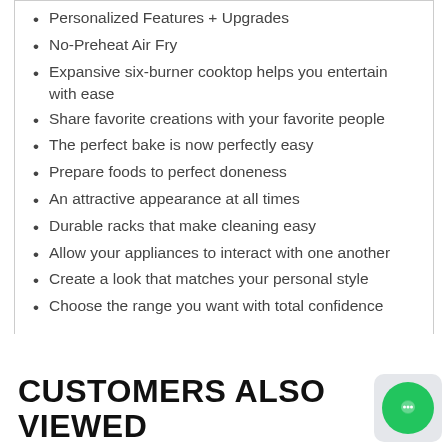Personalized Features + Upgrades
No-Preheat Air Fry
Expansive six-burner cooktop helps you entertain with ease
Share favorite creations with your favorite people
The perfect bake is now perfectly easy
Prepare foods to perfect doneness
An attractive appearance at all times
Durable racks that make cleaning easy
Allow your appliances to interact with one another
Create a look that matches your personal style
Choose the range you want with total confidence
CUSTOMERS ALSO VIEWED